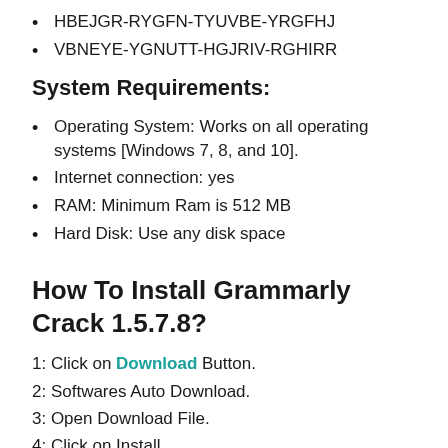HBEJGR-RYGFN-TYUVBE-YRGFHJ
VBNEYE-YGNUTT-HGJRIV-RGHIRR
System Requirements:
Operating System: Works on all operating systems [Windows 7, 8, and 10].
Internet connection: yes
RAM: Minimum Ram is 512 MB
Hard Disk: Use any disk space
How To Install Grammarly Crack 1.5.7.8?
1: Click on Download Button.
2: Softwares Auto Download.
3: Open Download File.
4: Click on Install.